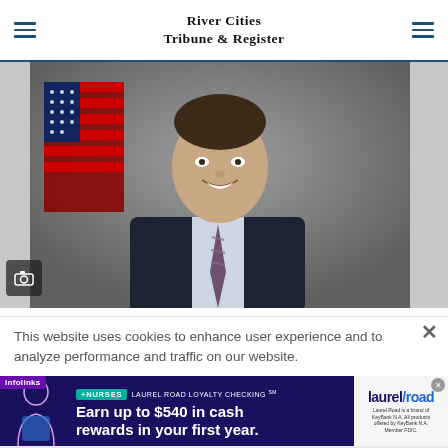River Cities Tribune & Register
[Figure (photo): Official portrait photo of a man in a dark suit and striped tie, smiling, with an American flag in the background. Camera icon badge in lower left.]
This website uses cookies to enhance user experience and to analyze performance and traffic on our website.
[Figure (infographic): Advertisement: Laurel Road Loyalty Checking. +NURSES. Earn up to $540 in cash rewards in your first year. Laurel Road is a brand of KeyBank N.A. All products offered by KeyBank N.A. Member FDIC.]